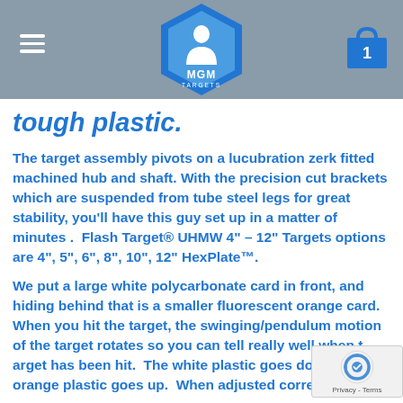MGM Targets navigation header with hamburger menu and cart icon
tough plastic.
The target assembly pivots on a lucubration zerk fitted machined hub and shaft. With the precision cut brackets which are suspended from tube steel legs for great stability, you'll have this guy set up in a matter of minutes .  Flash Target® UHMW 4" – 12" Targets options are 4", 5", 6", 8", 10", 12" HexPlate™.
We put a large white polycarbonate card in front, and hiding behind that is a smaller fluorescent orange card.  When you hit the target, the swinging/pendulum motion of the target rotates so you can tell really well when the target has been hit.  The white plastic goes down and the orange plastic goes up.  When adjusted correctly